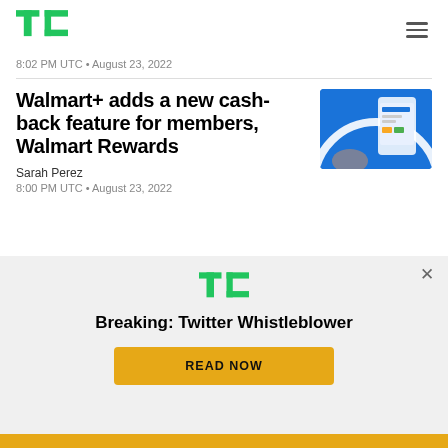TechCrunch logo and navigation
8:02 PM UTC • August 23, 2022
Walmart+ adds a new cash-back feature for members, Walmart Rewards
Sarah Perez
8:00 PM UTC • August 23, 2022
[Figure (screenshot): Walmart app screenshot on blue background showing Walmart Rewards interface]
[Figure (infographic): TechCrunch popup overlay with TC logo, 'Breaking: Twitter Whistleblower' headline and yellow READ NOW button]